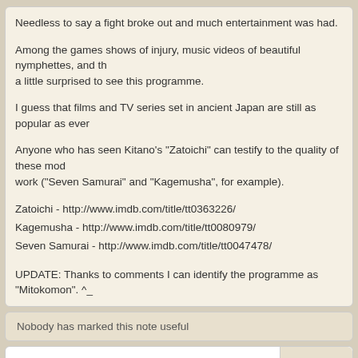Needless to say a fight broke out and much entertainment was had.
Among the games shows of injury, music videos of beautiful nymphettes, and th... a little surprised to see this programme.
I guess that films and TV series set in ancient Japan are still as popular as ever...
Anyone who has seen Kitano's "Zatoichi" can testify to the quality of these mod... work ("Seven Samurai" and "Kagemusha", for example).
Zatoichi - http://www.imdb.com/title/tt0363226/
Kagemusha - http://www.imdb.com/title/tt0080979/
Seven Samurai - http://www.imdb.com/title/tt0047478/
UPDATE: Thanks to comments I can identify the programme as "Mitokomon". ^_
Nobody has marked this note useful
Critiques | Translate
Koyama (609) 2006-07-07 12:49 [Comment]
Show Comment +